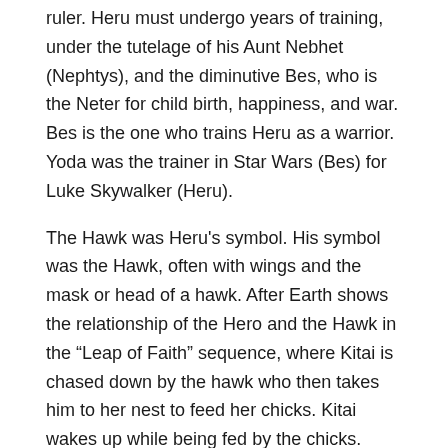ruler. Heru must undergo years of training, under the tutelage of his Aunt Nebhet (Nephtys), and the diminutive Bes, who is the Neter for child birth, happiness, and war. Bes is the one who trains Heru as a warrior. Yoda was the trainer in Star Wars (Bes) for Luke Skywalker (Heru).
The Hawk was Heru’s symbol. His symbol was the Hawk, often with wings and the mask or head of a hawk. After Earth shows the relationship of the Hero and the Hawk in the “Leap of Faith” sequence, where Kitai is chased down by the hawk who then takes him to her nest to feed her chicks. Kitai wakes up while being fed by the chicks. However, he discovers that the nest of hawks is under attack from feline predators who want to eat the chicks.
Kitai assists the hawk in protecting the nest, but does not stop predators from killing all the baby birds.
With a scream of anger, the hawk grieves the loss her baby chicks and follows Kitai in the…